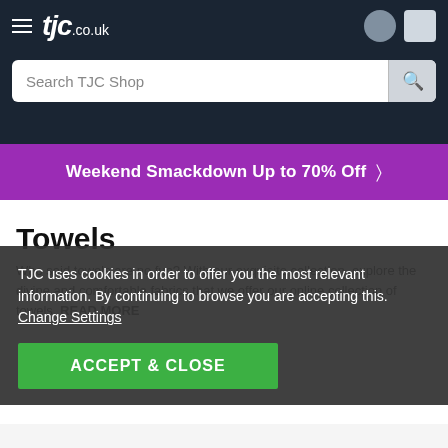[Figure (screenshot): TJC.co.uk website header with hamburger menu, logo, user and bag icons]
Search TJC Shop
Weekend Smackdown Up to 70% Off
Towels
Who said towels are no fun? With our exquisite collection, explore the divine and comfortable fabrics that we offer our online collection of towels. READ MORE
TJC uses cookies in order to offer you the most relevant information. By continuing to browse you are accepting this. Change Settings
ACCEPT & CLOSE
Home > Textiles > Towels
Showing 1 - 18 of 18 Products
Filter
Sort by Best Sellers